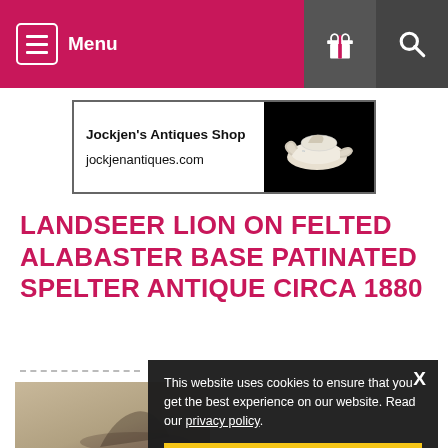Menu
[Figure (logo): Jockjen's Antiques Shop advertisement banner with text 'Jockjen's Antiques Shop' and 'jockjenantiques.com' alongside an image of an antique teapot on black background]
LANDSEER LION ON FELTED ALABASTER BASE PATINATED SPELTER ANTIQUE CIRCA 1880
[Figure (photo): Partial product photo showing base of antique spelter lion figurine]
This website uses cookies to ensure that you get the best experience on our website. Read our privacy policy.
I accept